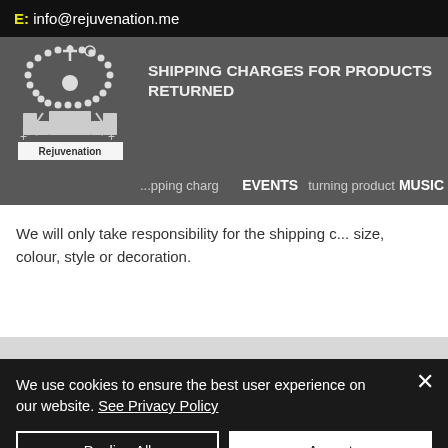E: info@rejuvenation.me
[Figure (logo): Rejuvenation brand logo: a crown with beaded border and crossed swords, with 'Rejuvenation' text below]
SHIPPING CHARGES FOR PRODUCTS RETURNED
shipping charges for returning products
EVENTS    MUSIC
We will only take responsibility for the shipping charges size, colour, style or decoration.
We use cookies to ensure the best user experience on our website. See Privacy Policy
Decline All
Accept
Cookie Settings